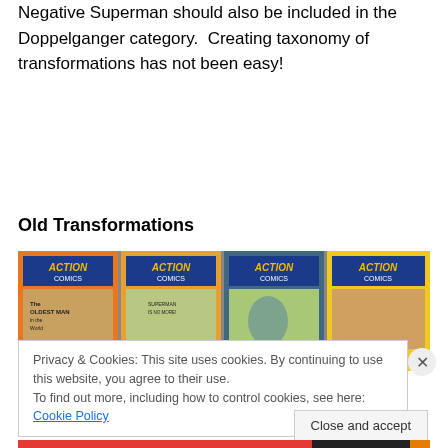Negative Superman should also be included in the Doppelganger category.  Creating taxonomy of transformations has not been easy!
Old Transformations
[Figure (photo): A collage of four Action Comics comic book covers featuring Superman, with colorful retro artwork.]
Privacy & Cookies: This site uses cookies. By continuing to use this website, you agree to their use.
To find out more, including how to control cookies, see here: Cookie Policy
Close and accept